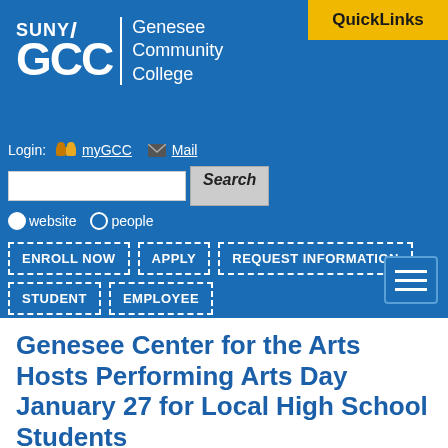[Figure (logo): SUNY GCC Genesee Community College logo with white text on blue background]
QuickLinks
Login: myGCC   Mail
[Figure (screenshot): Search bar with Search button and website/people radio buttons]
ENROLL NOW
APPLY
REQUEST INFORMATION
STUDENT
EMPLOYEE
Genesee Center for the Arts Hosts Performing Arts Day January 27 for Local High School Students
Monday, January 9, 2017